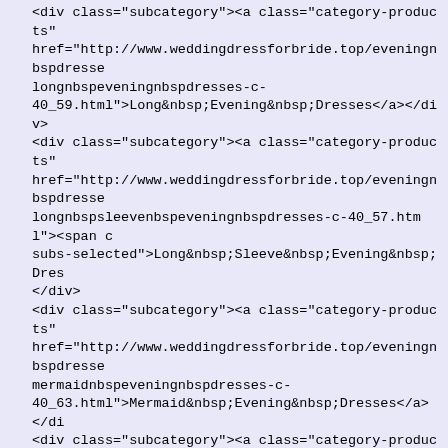<div class="subcategory"><a class="category-products" href="http://www.weddingdressforbride.top/eveningnbspdresses-longnbspeveningnbspdresses-c-40_59.html">Long&nbsp;Evening&nbsp;Dresses</a></div> <div class="subcategory"><a class="category-products" href="http://www.weddingdressforbride.top/eveningnbspdresses-longnbspsleevenbspeveningnbspdresses-c-40_57.html"><span class="subs-selected">Long&nbsp;Sleeve&nbsp;Evening&nbsp;Dresses</span></div> <div class="subcategory"><a class="category-products" href="http://www.weddingdressforbride.top/eveningnbspdresses-mermaidnbspeveningnbspdresses-c-40_63.html">Mermaid&nbsp;Evening&nbsp;Dresses</a></div> <div class="subcategory"><a class="category-products" href="http://www.weddingdressforbride.top/eveningnbspdresses-vintagenbspeveningnbspdresses-c-40_61.html">Vintage&nbsp;Evening&nbsp;Dresses</a></div> <div class="categories-top-list "><a class="category-top" href="http://www.weddingdressforbride.top/girlsnbspdresses-c-39.html">Girl's&nbsp;Dresses</a></div> <div class="categories-top-list "><a class="category-top" href="http://www.weddingdressforbride.top/mothernbspdresses-7.html">Mother&nbsp;Dresses</a></div> <div class="categories-top-list "><a class="category-top" href="http://www.weddingdressforbride.top/plusnbspsizenbspd-42.html">Plus&nbsp;Size&nbsp;Dresses</a></div>